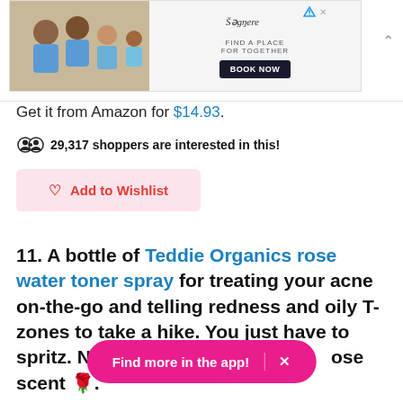[Figure (screenshot): Advertisement banner for a travel/accommodation booking service showing children in swimwear, brand logo, tagline 'Find a place for together', and 'Book Now' button]
Get it from Amazon for $14.93.
29,317 shoppers are interested in this!
Add to Wishlist
11. A bottle of Teddie Organics rose water toner spray for treating your acne on-the-go and telling redness and oily T-zones to take a hike. You just have to spritz. Not to mention [the light rose scent] 🌹.
Find more in the app!